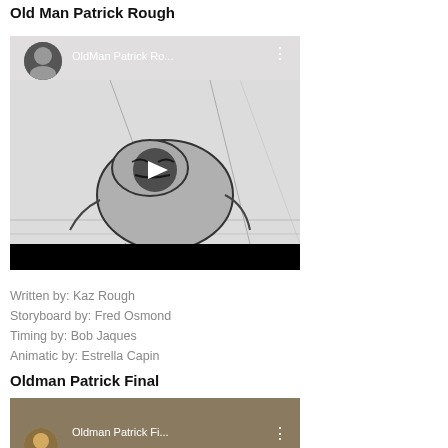Old Man Patrick Rough
[Figure (screenshot): YouTube video thumbnail for 'OldMan Patrick Ro...' showing a rough animation storyboard of an angry character, with a play button overlay and a user avatar thumbnail in the top left.]
Written by: Kaz Rough
Storyboard by: Fred Osmond
Timing by: Bob Jaques
Animatic by: Estrella Capin
Oldman Patrick Final
[Figure (screenshot): YouTube video thumbnail for 'Oldman Patrick Fi...' showing a dark-themed video with user avatar partially visible, partially cropped at bottom of page.]